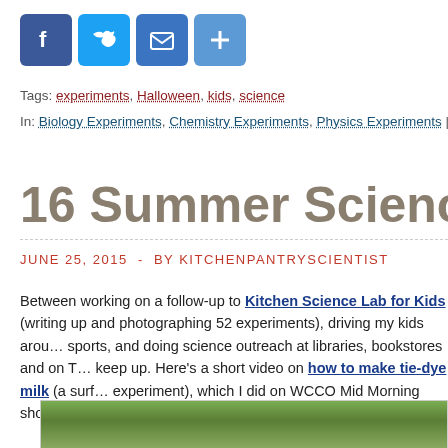[Figure (infographic): Social media share icons: Facebook (blue), Twitter (light blue), Email (blue envelope), Plus/Share (blue plus sign)]
Tags: experiments, Halloween, kids, science
In: Biology Experiments, Chemistry Experiments, Physics Experiments | No comments
16 Summer Science Expe...
JUNE 25, 2015 - BY KITCHENPANTRYSCIENTIST
Between working on a follow-up to Kitchen Science Lab for Kids (writing up and photographing 52 experiments), driving my kids around sports, and doing science outreach at libraries, bookstores and on TV, keep up. Here's a short video on how to make tie-dye milk (a surface experiment), which I did on WCCO Mid Morning show last week an...
[Figure (photo): Partial photo of green trees/foliage at the bottom of the page]